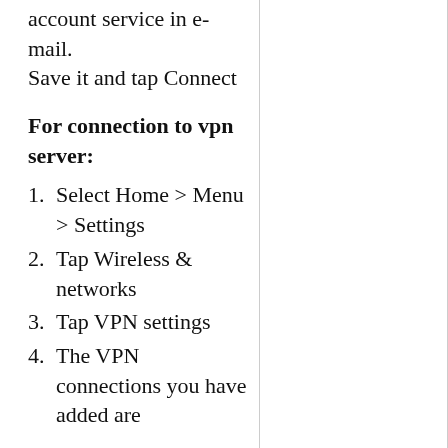account service in e-mail.
Save it and tap Connect
For connection to vpn server:
1. Select Home > Menu > Settings
2. Tap Wireless & networks
3. Tap VPN settings
4. The VPN connections you have added are